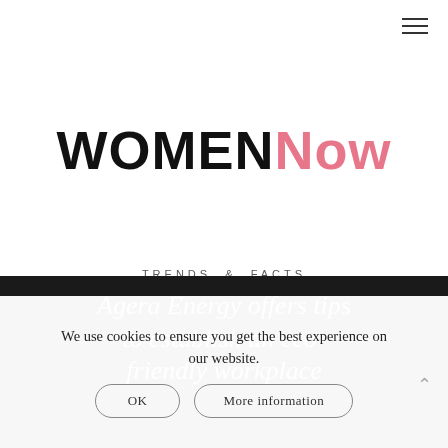≡ (hamburger menu icon)
[Figure (logo): WomenNow logo — 'WOMEN' in black bold sans-serif and 'Now' in pink/salmon bold sans-serif]
TRENDS & FACTS
Agera Energy offers tips to establish an eco-friendly workplace
We use cookies to ensure you get the best experience on our website.
OK  More information